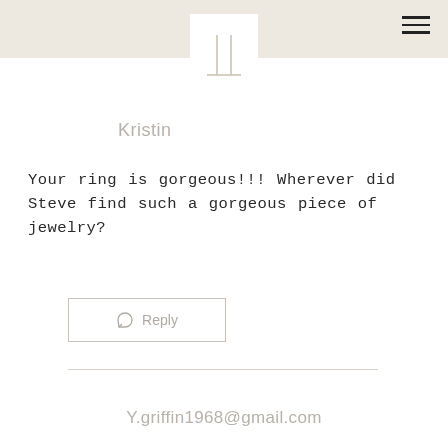[Figure (logo): Website logo with two vertical lines and horizontal baseline, resembling stylized letters, centered in white box on beige header]
Kristin
Your ring is gorgeous!!! Wherever did Steve find such a gorgeous piece of jewelry?
Reply
Y.griffin1968@gmail.com